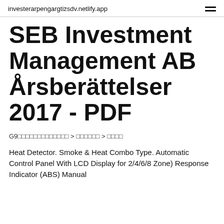investerarpengargtizsdv.netlify.app
SEB Investment Management AB Årsberättelser 2017 - PDF
G9▯▯▯▯▯▯▯▯▯▯▯▯▯ > ▯▯▯▯▯▯ > ▯▯▯▯
Heat Detector. Smoke & Heat Combo Type. Automatic Control Panel With LCD Display for 2/4/6/8 Zone) Response Indicator (ABS) Manual